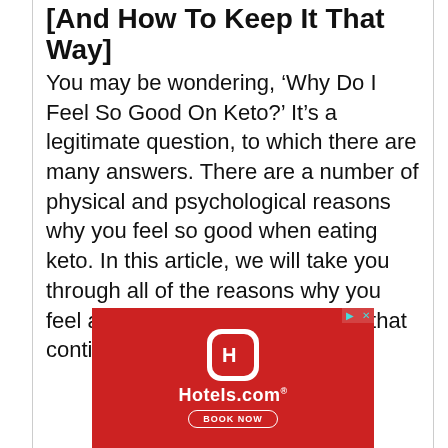[And How To Keep It That Way]
You may be wondering, ‘Why Do I Feel So Good On Keto?’ It’s a legitimate question, to which there are many answers. There are a number of physical and psychological reasons why you feel so good when eating keto. In this article, we will take you through all of the reasons why you feel amazing, and how to ensure that continues.
[Figure (advertisement): Hotels.com advertisement with red background, white Hotels.com logo in a rounded square, Hotels.com brand name, and BOOK NOW button]